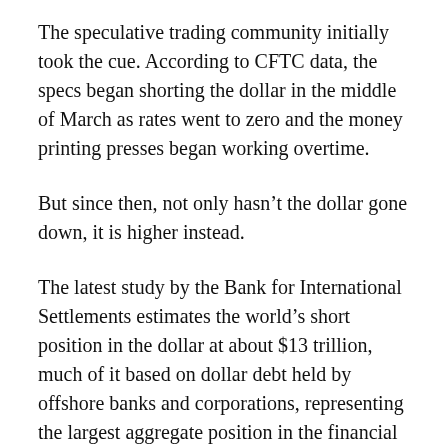The speculative trading community initially took the cue. According to CFTC data, the specs began shorting the dollar in the middle of March as rates went to zero and the money printing presses began working overtime.
But since then, not only hasn't the dollar gone down, it is higher instead.
The latest study by the Bank for International Settlements estimates the world's short position in the dollar at about $13 trillion, much of it based on dollar debt held by offshore banks and corporations, representing the largest aggregate position in the financial markets by far.